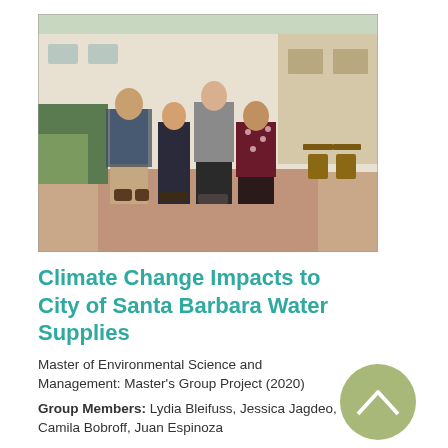[Figure (photo): Group photo of four students (three women and one man) standing together outdoors in a courtyard with trees and a building in the background.]
Climate Change Impacts to City of Santa Barbara Water Supplies
Master of Environmental Science and Management: Master's Group Project (2020)
Group Members: Lydia Bleifuss, Jessica Jagdeo, Camila Bobroff, Juan Espinoza